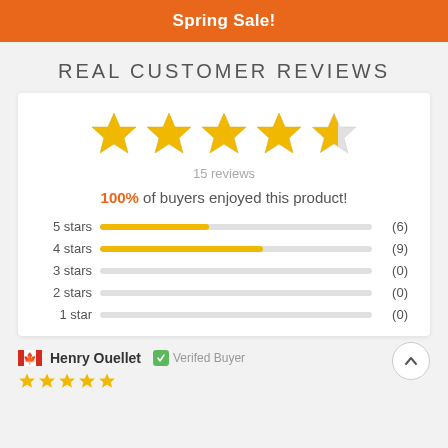Spring Sale!
REAL CUSTOMER REVIEWS
[Figure (infographic): 5 golden stars rating (4.5 out of 5), 15 reviews, 100% of buyers enjoyed this product, bar chart showing 5 stars: 6, 4 stars: 9, 3 stars: 0, 2 stars: 0, 1 star: 0]
Henry Ouellet  Verified Buyer